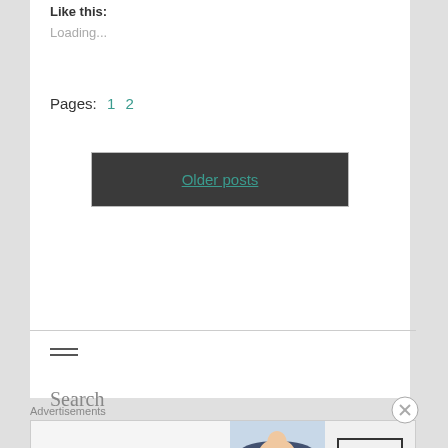Like this:
Loading...
Pages: 1 2
Older posts
[Figure (other): Hamburger menu icon (three horizontal lines)]
Search
Advertisements
[Figure (other): Bloomingdale's advertisement banner: 'bloomingdales View Today's Top Deals!' with woman in wide-brim hat and 'SHOP NOW >' button]